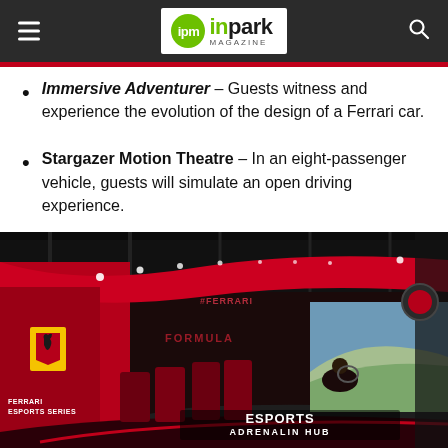ipm inpark MAGAZINE
Immersive Adventurer – Guests witness and experience the evolution of the design of a Ferrari car.
Stargazer Motion Theatre – In an eight-passenger vehicle, guests will simulate an open driving experience.
[Figure (photo): Interior of Ferrari Esports Adrenalin Hub with red walls, racing simulators, Ferrari branding and large screens showing a race track. Text reads ESPORTS ADRENALIN HUB and FERRARI ESPORTS SERIES.]